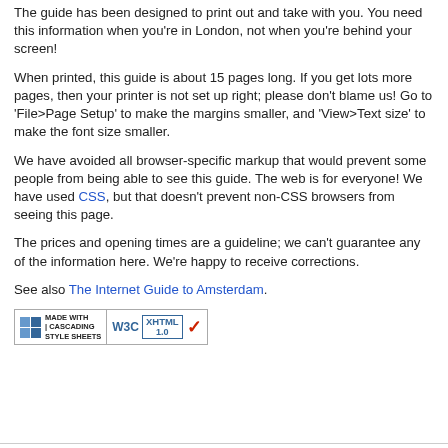The guide has been designed to print out and take with you. You need this information when you're in London, not when you're behind your screen!
When printed, this guide is about 15 pages long. If you get lots more pages, then your printer is not set up right; please don't blame us! Go to 'File>Page Setup' to make the margins smaller, and 'View>Text size' to make the font size smaller.
We have avoided all browser-specific markup that would prevent some people from being able to see this guide. The web is for everyone! We have used CSS, but that doesn't prevent non-CSS browsers from seeing this page.
The prices and opening times are a guideline; we can't guarantee any of the information here. We're happy to receive corrections.
See also The Internet Guide to Amsterdam.
[Figure (logo): Two web compliance badges: 'Made with Cascading Style Sheets' (W3C CSS) and W3C XHTML 1.0 validation badge with checkmark]